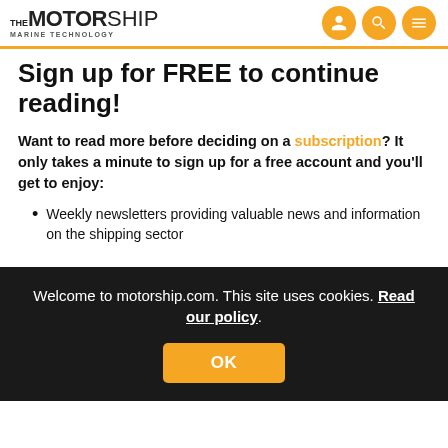THE MOTORSHIP MARINE TECHNOLOGY
Sign up for FREE to continue reading!
Want to read more before deciding on a subscription? It only takes a minute to sign up for a free account and you'll get to enjoy:
Weekly newsletters providing valuable news and information on the shipping sector
Welcome to motorship.com. This site uses cookies. Read our policy.
Our extensive archive of data, research and intelligence